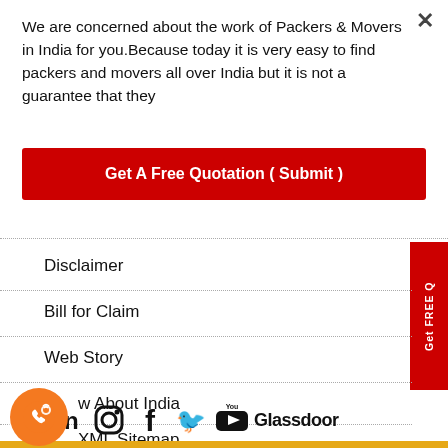We are concerned about the work of Packers & Movers in India for you.Because today it is very easy to find packers and movers all over India but it is not a guarantee that they
Get A Free Quotation ( Submit )
Disclaimer
Bill for Claim
Web Story
w About India
XML Sitemap
[Figure (logo): Social media icons row: Pinterest, LinkedIn, Instagram, Facebook, Twitter, YouTube, Glassdoor]
[Figure (illustration): Orange circle phone/call icon on left side]
[Figure (illustration): Green circle WhatsApp icon on left side]